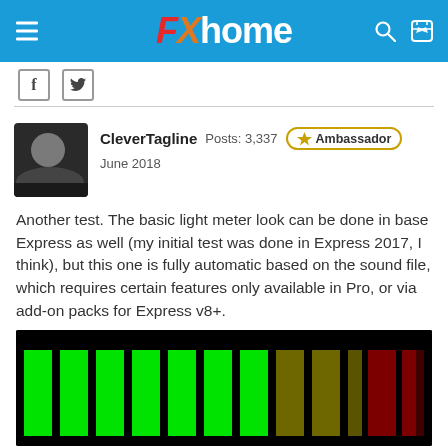FXhome
[Figure (screenshot): FXhome forum post page with navigation header, social share icons, user avatar and metadata, post text, and light meter video frame]
CleverTagline  Posts: 3,337  Ambassador  June 2018
Another test.  The basic light meter look can be done in base Express as well (my initial test was done in Express 2017, I think), but this one is fully automatic based on the sound file, which requires certain features only available in Pro, or via add-on packs for Express v8+.